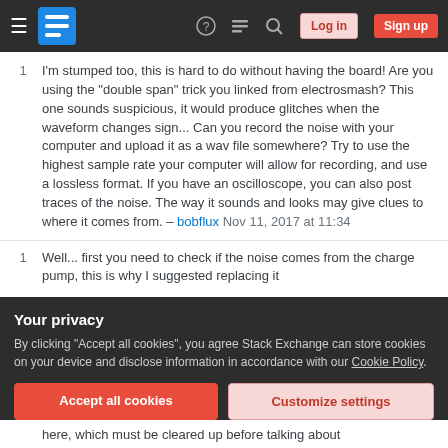Stack Exchange navigation bar with hamburger menu, logo, help, chat, search, Log in, Sign up buttons
1 I'm stumped too, this is hard to do without having the board! Are you using the "double span" trick you linked from electrosmash? This one sounds suspicious, it would produce glitches when the waveform changes sign... Can you record the noise with your computer and upload it as a wav file somewhere? Try to use the highest sample rate your computer will allow for recording, and use a lossless format. If you have an oscilloscope, you can also post traces of the noise. The way it sounds and looks may give clues to where it comes from. – bobflux Nov 11, 2017 at 11:34
1 Well... first you need to check if the noise comes from the charge pump, this is why I suggested replacing it
Your privacy
By clicking "Accept all cookies", you agree Stack Exchange can store cookies on your device and disclose information in accordance with our Cookie Policy.
here, which must be cleared up before talking about